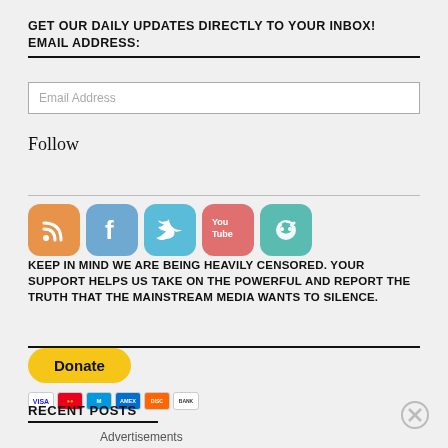GET OUR DAILY UPDATES DIRECTLY TO YOUR INBOX! EMAIL ADDRESS:
Email Address
Follow
[Figure (infographic): Social media icons: RSS (orange), Facebook (blue), Twitter (light blue), YouTube (red/pink), Reddit (teal)]
KEEP IN MIND WE ARE BEING HEAVILY CENSORED. YOUR SUPPORT HELPS US TAKE ON THE POWERFUL AND REPORT THE TRUTH THAT THE MAINSTREAM MEDIA WANTS TO SILENCE.
[Figure (infographic): Yellow PayPal Donate button with payment card icons below (Visa, Mastercard, Maestro, Amex, Discover, bank transfer)]
RECENT POSTS
Advertisements